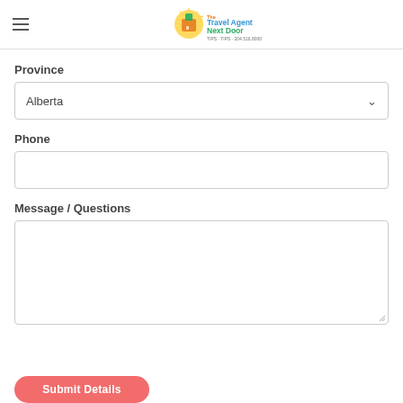The Travel Agent Next Door
Province
Alberta
Phone
Message / Questions
Submit Details